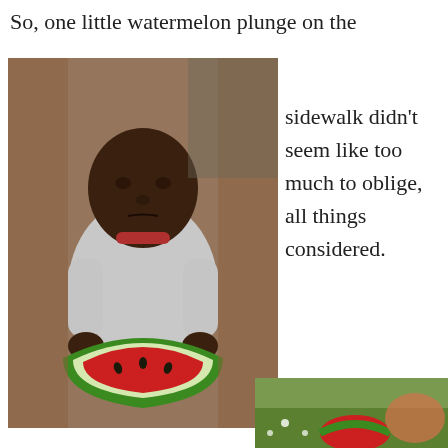So, one little watermelon plunge on the sidewalk didn’t seem like too much to oblige, all things considered.
[Figure (photo): A child holding a large slice of watermelon, standing on a brick sidewalk outdoors.]
[Figure (photo): Partial image showing a watermelon on grass, bottom right corner of the page.]